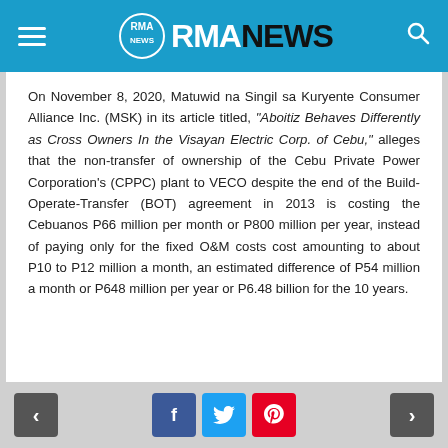RMA NEWS
On November 8, 2020, Matuwid na Singil sa Kuryente Consumer Alliance Inc. (MSK) in its article titled, "Aboitiz Behaves Differently as Cross Owners In the Visayan Electric Corp. of Cebu," alleges that the non-transfer of ownership of the Cebu Private Power Corporation's (CPPC) plant to VECO despite the end of the Build-Operate-Transfer (BOT) agreement in 2013 is costing the Cebuanos P66 million per month or P800 million per year, instead of paying only for the fixed O&M costs cost amounting to about P10 to P12 million a month, an estimated difference of P54 million a month or P648 million per year or P6.48 billion for the 10 years.
< f t p >